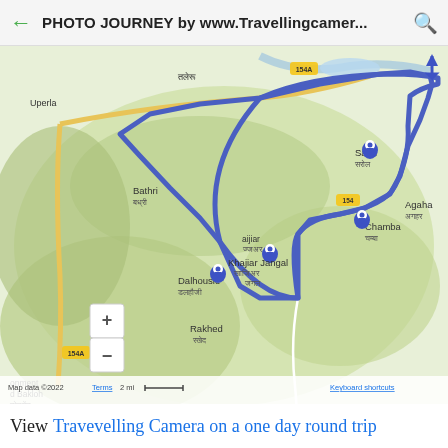PHOTO JOURNEY by www.Travellingcamer...
[Figure (map): Google My Maps screenshot showing a route map centered on Chamba, Himachal Pradesh, India. A blue route line forms a loop connecting Dalhousie, Bathri, Sarol, Chamba, Khajiar Jangal, and back. Blue map pins mark Dalhousie (डलहौजी), Sarol (सरोल), Chamba (चम्बा), and Khajiar Jangal (खाजिअर जंगल). Visible place names include: Uperla, तलेरू, 154A, Baror बारूर, Sarol सरोल, Agaha अगहर, Bathri बध्री, Khajiar Jangal खाजिअर जंगल, Chamba चम्बा, Dalhousie डलहौजी, Rakhed रखेद, Priungal प्रिउंगल, onment d Bakloh टोनमेंट बकलोह, Awan अवन, Barei Jangal बारी जंगल, Mehla मेहला, Chuari Khas चुवाडी, Chaki. Map data ©2022, Terms, 2mi scale bar, Keyboard shortcuts, Google My Maps logo, zoom +/- controls.]
View Travevelling Camera on a one day round trip